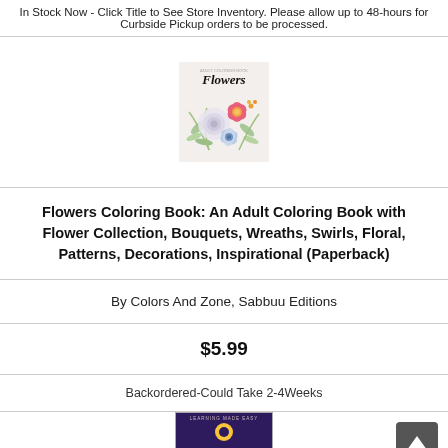In Stock Now - Click Title to See Store Inventory. Please allow up to 48-hours for Curbside Pickup orders to be processed.
[Figure (illustration): Book cover for Flowers Coloring Book with watercolor flower arrangement on light background]
Flowers Coloring Book: An Adult Coloring Book with Flower Collection, Bouquets, Wreaths, Swirls, Floral, Patterns, Decorations, Inspirational (Paperback)
By Colors And Zone, Sabbuu Editions
$5.99
Backordered-Could Take 2-4Weeks
[Figure (illustration): Partial view of another book cover with purple background, yellow circle icon, and large white text starting with 'Cu...']